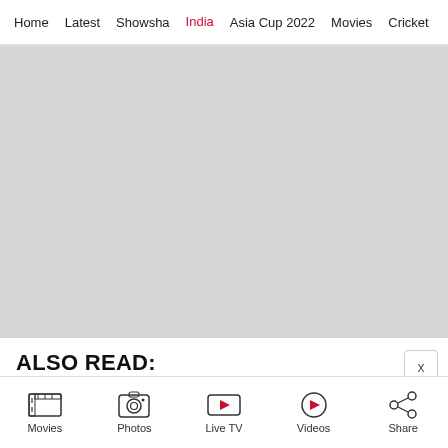Home | Latest | Showsha | India | Asia Cup 2022 | Movies | Cricket
[Figure (photo): Gray placeholder image for embedded video or photo content]
ALSO READ:
[obscured link text]
Movies | Photos | Live TV | Videos | Share